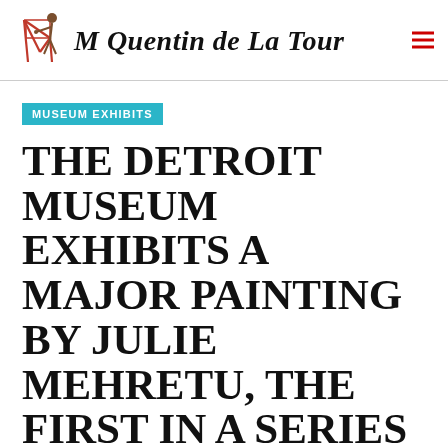M Quentin de La Tour
MUSEUM EXHIBITS
THE DETROIT MUSEUM EXHIBITS A MAJOR PAINTING BY JULIE MEHRETU, THE FIRST IN A SERIES OF WORKS LOANED BY BLACK ARTISTS